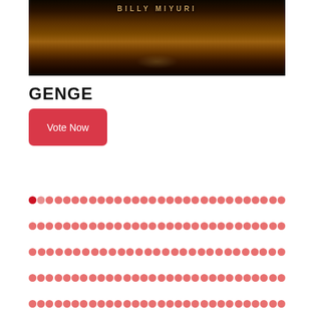[Figure (photo): Dark brown/golden background image with text 'BILLY MIYURI' at the top, appearing to be an album or artist cover art with bokeh light effects]
GENGE
Vote Now
[Figure (other): Five rows of small circular dots in red/salmon colors used as a decorative pagination or progress indicator element, with the first dot in the first row being a darker red]